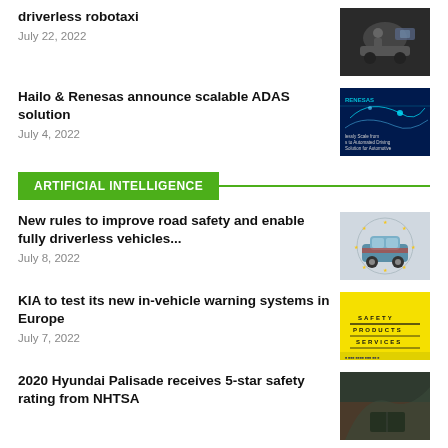driverless robotaxi
July 22, 2022
[Figure (photo): Person in car interior, dashboard view]
Hailo & Renesas announce scalable ADAS solution
July 4, 2022
[Figure (photo): Renesas ADAS promotional banner with blue digital design]
ARTIFICIAL INTELLIGENCE
New rules to improve road safety and enable fully driverless vehicles...
July 8, 2022
[Figure (illustration): Car icon with EU stars circle, European road safety illustration]
KIA to test its new in-vehicle warning systems in Europe
July 7, 2022
[Figure (photo): Yellow background safety products services graphic]
2020 Hyundai Palisade receives 5-star safety rating from NHTSA